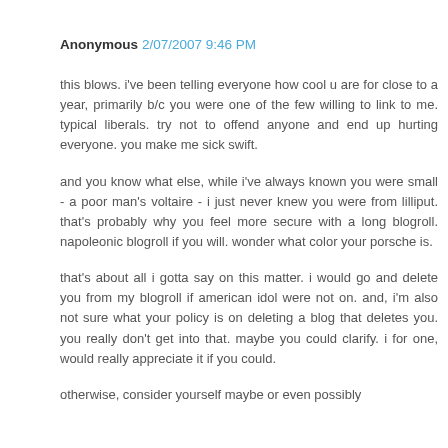Anonymous 2/07/2007 9:46 PM
this blows. i've been telling everyone how cool u are for close to a year, primarily b/c you were one of the few willing to link to me. typical liberals. try not to offend anyone and end up hurting everyone. you make me sick swift.
and you know what else, while i've always known you were small - a poor man's voltaire - i just never knew you were from lilliput. that's probably why you feel more secure with a long blogroll. napoleonic blogroll if you will. wonder what color your porsche is.
that's about all i gotta say on this matter. i would go and delete you from my blogroll if american idol were not on. and, i'm also not sure what your policy is on deleting a blog that deletes you. you really don't get into that. maybe you could clarify. i for one, would really appreciate it if you could.
otherwise, consider yourself maybe or even possibly